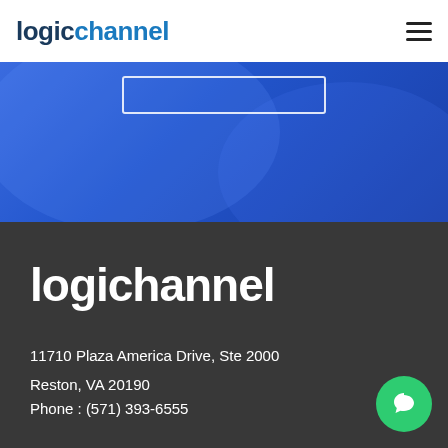logichannel
[Figure (screenshot): Blue gradient banner section with a rectangular button outline visible at the top]
logichannel
11710 Plaza America Drive, Ste 2000
Reston, VA 20190
Phone : (571) 393-6555